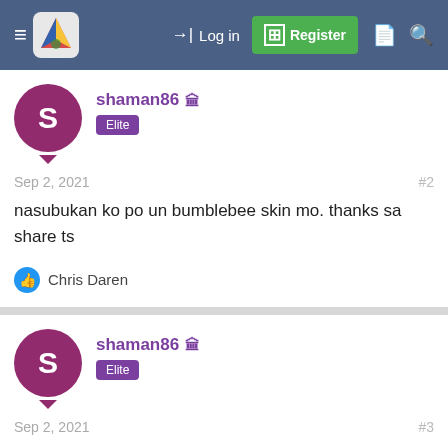Log in | Register
shaman86 | Elite
Sep 2, 2021 #2
nasubukan ko po un bumblebee skin mo. thanks sa share ts
Chris Daren
shaman86 | Elite
Sep 2, 2021 #3
darthvader po ni argus. thanks po ts